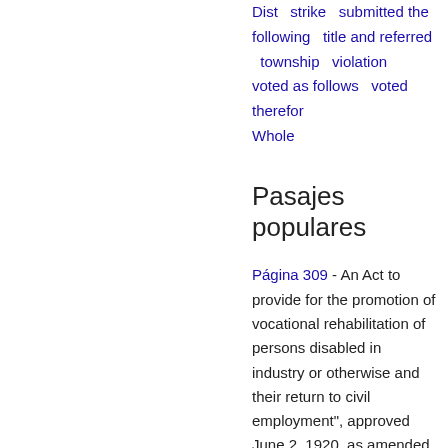Dist   strike   submitted the following   title and referred   township   violation   voted as follows   voted therefor   Whole
Pasajes populares
Página 309 - An Act to provide for the promotion of vocational rehabilitation of persons disabled in industry or otherwise and their return to civil employment", approved June 2, 1920, as amended (USC, title 29, ch.
Aparece en 309 libros desde 1776-2006